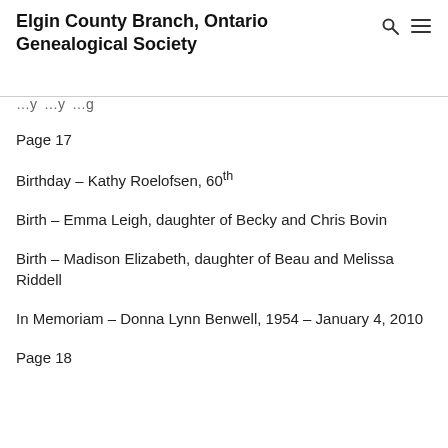Elgin County Branch, Ontario Genealogical Society
Page 17
Birthday – Kathy Roelofsen, 60th
Birth – Emma Leigh, daughter of Becky and Chris Bovin
Birth – Madison Elizabeth, daughter of Beau and Melissa Riddell
In Memoriam – Donna Lynn Benwell, 1954 – January 4, 2010
Page 18